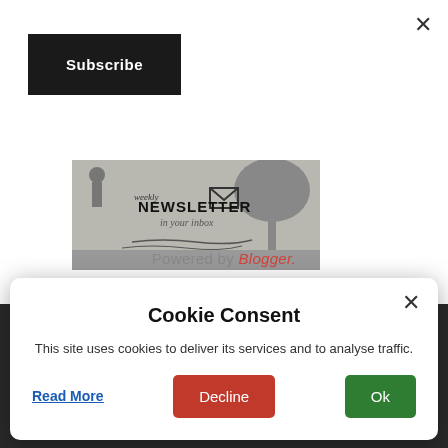[Figure (screenshot): Weekly Newsletter in your inbox promotional banner with silhouettes and tree illustration on gray background]
×
Subscribe
Powered by Blogger.
Cookie Consent
This site uses cookies to deliver its services and to analyse traffic.
Read More
Decline
Ok